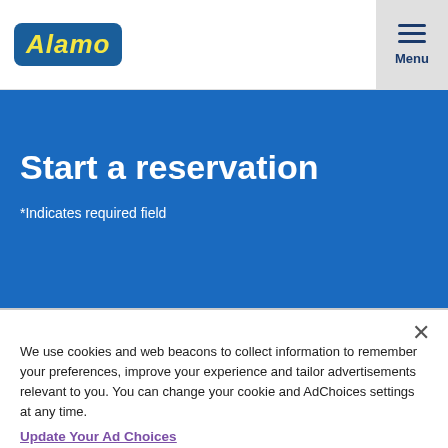Alamo | Menu
Start a reservation
*Indicates required field
Downtown Calgary 17th Ave, SE
We use cookies and web beacons to collect information to remember your preferences, improve your experience and tailor advertisements relevant to you. You can change your cookie and AdChoices settings at any time.
Update Your Ad Choices
More Information
Manage Your Settings